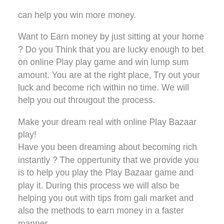can help you win more money.
Want to Earn money by just sitting at your home ? Do you Think that you are lucky enough to bet on online Play play game and win lump sum amount. You are at the right place, Try out your luck and become rich within no time. We will help you out througout the process.
Make your dream real with online Play Bazaar play!
Have you been dreaming about becoming rich instantly ? The oppertunity that we provide you is to help you play the Play Bazaar game and play it. During this process we will also be helping you out with tips from gali market and also the methods to earn money in a faster manner.
Get To Know More About Play Bazaar Gambling
Finding right web site is important to urge correct steering To get the essential and propelled tips about on-line play of Play Bazaar together with that of the thought gali Play one must